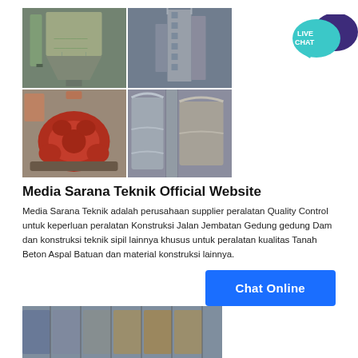[Figure (photo): 4-photo grid of industrial/construction equipment: top-left: industrial hopper/silo machine, top-right: tall industrial processing tower, bottom-left: red hydraulic pump assembly, bottom-right: large pipe/cylinder structures]
[Figure (logo): Live Chat icon: teal speech bubble with LIVE CHAT text and dark purple speech bubble overlapping]
Media Sarana Teknik Official Website
Media Sarana Teknik adalah perusahaan supplier peralatan Quality Control untuk keperluan peralatan Konstruksi Jalan Jembatan Gedung gedung Dam dan konstruksi teknik sipil lainnya khusus untuk peralatan kualitas Tanah Beton Aspal Batuan dan material konstruksi lainnya.
Chat Online
[Figure (photo): Bottom partial photo showing industrial pipe/tube equipment storage]